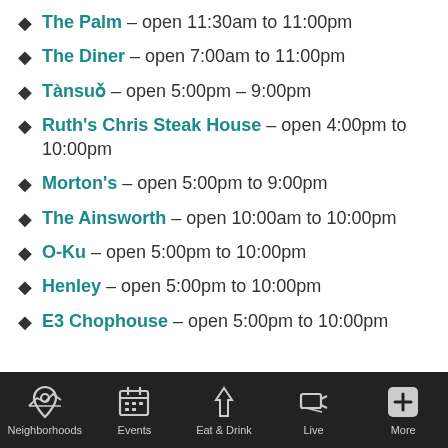The Palm – open 11:30am to 11:00pm
The Diner – open 7:00am to 11:00pm
Tànsuǒ – open 5:00pm – 9:00pm
Ruth's Chris Steak House – open 4:00pm to 10:00pm
Morton's – open 5:00pm to 9:00pm
The Ainsworth – open 10:00am to 10:00pm
O-Ku – open 5:00pm to 10:00pm
Henley – open 5:00pm to 10:00pm
E3 Chophouse – open 5:00pm to 10:00pm
Neighborhoods | Events | Eat & Drink | Live | More